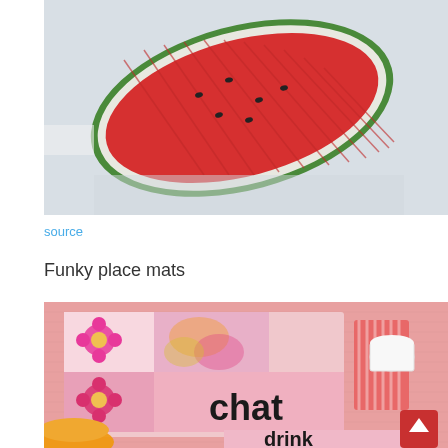[Figure (photo): A quilted watermelon slice-shaped placemat on a white surface. The mat is red fabric in the center with a green border resembling a watermelon rind, with quilted diagonal lines.]
source
Funky place mats
[Figure (photo): A colorful patchwork quilted place mat on a pink linen tablecloth. The place mat features pink flower appliques, colorful floral fabric patches, and the word 'chat' in black letters on a pink background. A striped pink coaster with a white cup is visible to the right. The word 'drink' is partially visible at the bottom. An orange cup and saucer are partially visible at the bottom left. A red scroll-to-top button is visible in the bottom right corner.]